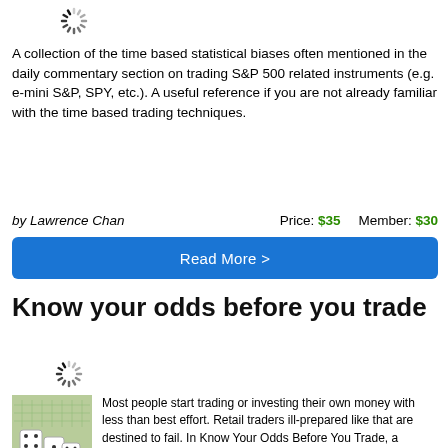[Figure (other): Loading spinner icon at top left]
A collection of the time based statistical biases often mentioned in the daily commentary section on trading S&P 500 related instruments (e.g. e-mini S&P, SPY, etc.). A useful reference if you are not already familiar with the time based trading techniques.
by Lawrence Chan   Price: $35   Member: $30
Read More >
Know your odds before you trade
[Figure (other): Loading spinner icon in middle]
[Figure (photo): Book cover image showing dice on a green background]
Most people start trading or investing their own money with less than best effort. Retail traders ill-prepared like that are destined to fail. In Know Your Odds Before You Trade, a trading veteran walks you through various